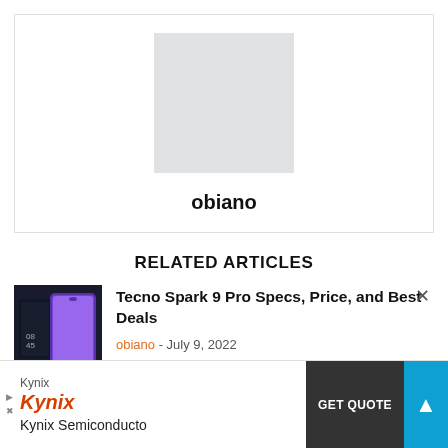[Figure (photo): Author avatar placeholder — light grey square]
obiano
RELATED ARTICLES
[Figure (photo): Tecno Spark 9 Pro smartphone product photo showing front and back views on dark background]
Tecno Spark 9 Pro Specs, Price, and Best Deals
obiano - July 9, 2022
[Figure (other): Kynix advertisement banner with GET QUOTE button and scroll-to-top button]